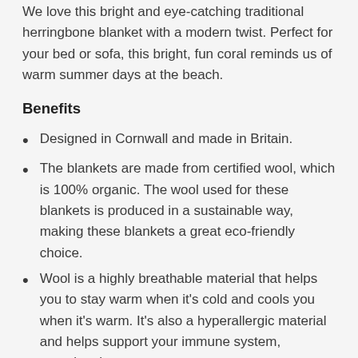We love this bright and eye-catching traditional herringbone blanket with a modern twist. Perfect for your bed or sofa, this bright, fun coral reminds us of warm summer days at the beach.
Benefits
Designed in Cornwall and made in Britain.
The blankets are made from certified wool, which is 100% organic. The wool used for these blankets is produced in a sustainable way, making these blankets a great eco-friendly choice.
Wool is a highly breathable material that helps you to stay warm when it's cold and cools you when it's warm. It's also a hyperallergic material and helps support your immune system, meaning these